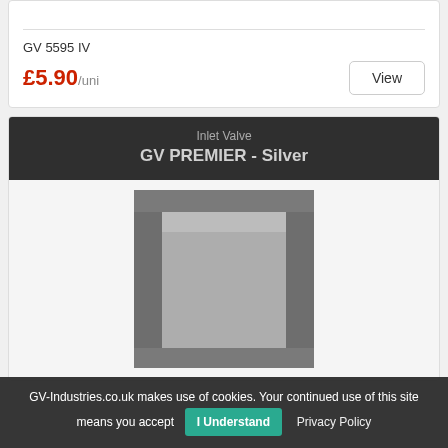GV 5595 IV
£5.90/uni
Inlet Valve
GV PREMIER - Silver
[Figure (photo): Silver inlet valve product photo showing a rectangular silver-colored valve component]
GV-Industries.co.uk makes use of cookies. Your continued use of this site means you accept I Understand Privacy Policy